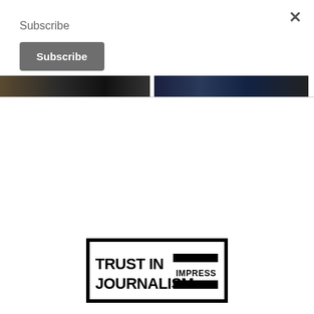Subscribe
Subscribe
×
[Figure (screenshot): Partial photo strip showing two dark images side by side]
[Figure (logo): Trust in Journalism IMPRESS logo — black bordered rectangle with bold text 'TRUST IN JOURNALISM' on left and two horizontal black bars with 'IMPRESS' text on right]